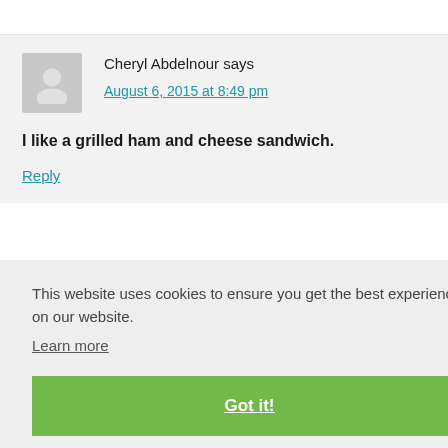Cheryl Abdelnour says
August 6, 2015 at 8:49 pm
I like a grilled ham and cheese sandwich.
Reply
This website uses cookies to ensure you get the best experience on our website.
Learn more
Got it!
Yummy!